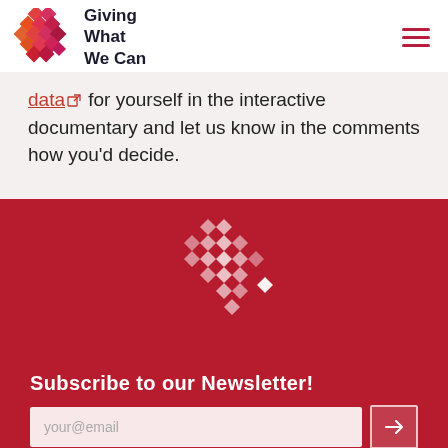Giving What We Can
data for yourself in the interactive documentary and let us know in the comments how you'd decide.
[Figure (logo): Giving What We Can heart/diamond mosaic logo in white on dark red background, footer version]
Subscribe to our Newsletter!
your@email